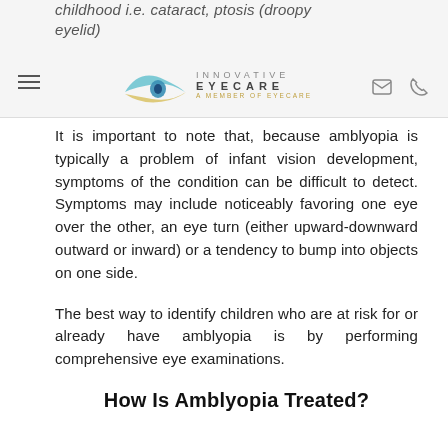childhood i.e. cataract, ptosis (droopy eyelid)
It is important to note that, because amblyopia is typically a problem of infant vision development, symptoms of the condition can be difficult to detect. Symptoms may include noticeably favoring one eye over the other, an eye turn (either upward-downward outward or inward) or a tendency to bump into objects on one side.
The best way to identify children who are at risk for or already have amblyopia is by performing comprehensive eye examinations.
How Is Amblyopia Treated?